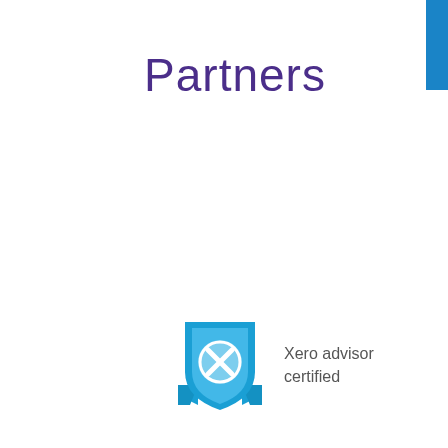Partners
[Figure (logo): Xero advisor certified badge — a light blue shield with a circular X emblem in the center and ribbon decorations at the bottom, alongside the text 'Xero advisor certified' in dark grey.]